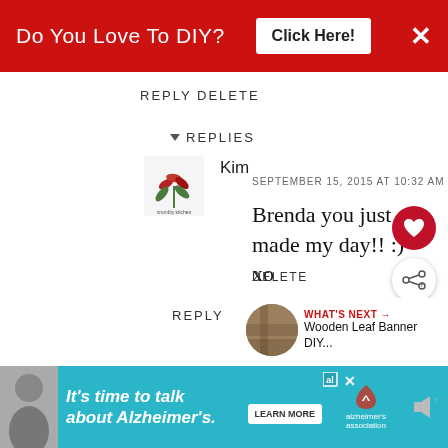[Figure (screenshot): Red banner ad: 'Do You Love To DIY? Click Here!' with X close button]
REPLY DELETE
▾ REPLIES
[Figure (logo): Kim's avatar - floral/botanical blog logo]
Kim
SEPTEMBER 15, 2015 AT 10:32 AM
Brenda you just made my day!! :) xo
DELETE
REPLY
[Figure (screenshot): What's Next panel: thumbnail image + 'Wooden Leaf Banner DIY...' text]
[Figure (screenshot): Bottom ad: It's time to talk about Alzheimer's - Alzheimer's Association]